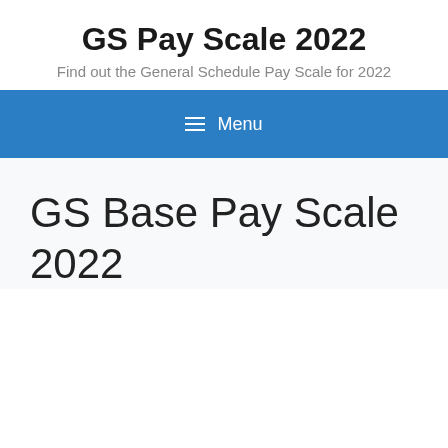GS Pay Scale 2022
Find out the General Schedule Pay Scale for 2022
Menu
GS Base Pay Scale 2022